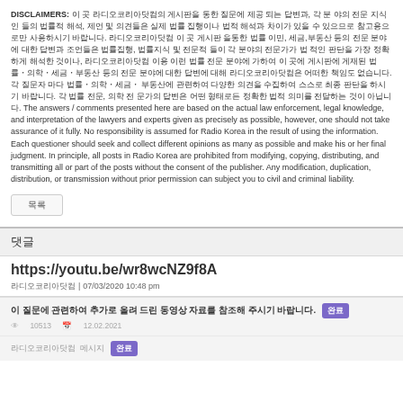DISCLAIMERS: [Korean text] The answers / comments presented here are based on the actual law enforcement, legal knowledge, and interpretation of the lawyers and experts given as precisely as possible, however, one should not take assurance of it fully. No responsibility is assumed for Radio Korea in the result of using the information. Each questioner should seek and collect different opinions as many as possible and make his or her final judgment. In principle, all posts in Radio Korea are prohibited from modifying, copying, distributing, and transmitting all or part of the posts without the consent of the publisher. Any modification, duplication, distribution, or transmission without prior permission can subject you to civil and criminal liability.
[Button: 목록]
댓글
https://youtu.be/wr8wcNZ9f8A
라디오코리아닷컴 | 07/03/2020 10:48 pm
이 질문에 관련하여 추가로 올려 드린 동영상 자료를 참조해 주시기 바랍니다. 완료
10513  12.02.2021
라디오코리아닷컴 메시지 완료